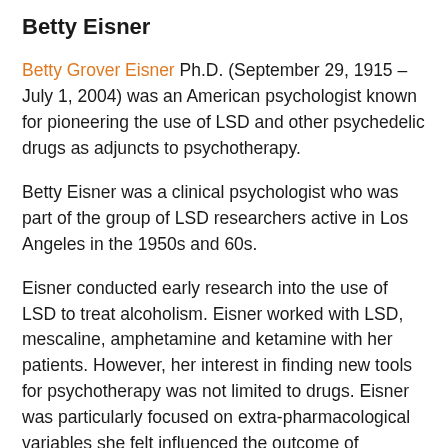Betty Eisner
Betty Grover Eisner Ph.D. (September 29, 1915 – July 1, 2004) was an American psychologist known for pioneering the use of LSD and other psychedelic drugs as adjuncts to psychotherapy.
Betty Eisner was a clinical psychologist who was part of the group of LSD researchers active in Los Angeles in the 1950s and 60s.
Eisner conducted early research into the use of LSD to treat alcoholism. Eisner worked with LSD, mescaline, amphetamine and ketamine with her patients. However, her interest in finding new tools for psychotherapy was not limited to drugs. Eisner was particularly focused on extra-pharmacological variables she felt influenced the outcome of psychotherapeutic sessions. Eisner described